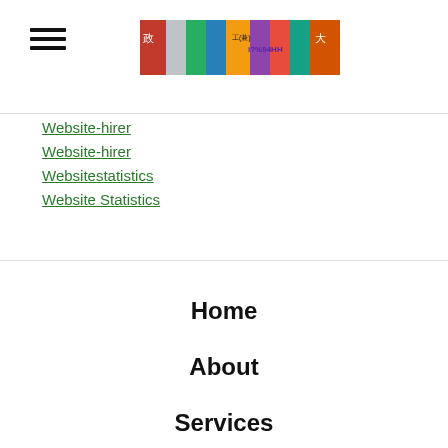[Figure (screenshot): Website banner/logo with colorful collage of Chinese-themed images and text]
Website-hirer
Website-hirer
Websitestatistics
Website Statistics
Home
About
Services